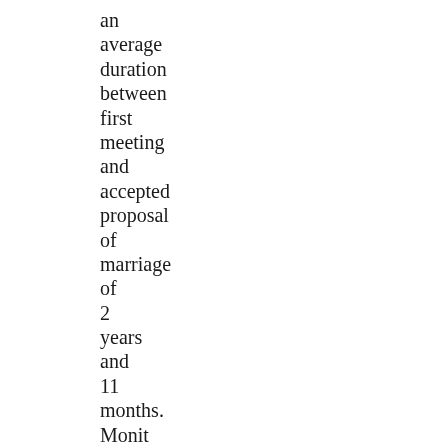an average duration between first meeting and accepted proposal of marriage of 2 years and 11 months. Monit will also enable monitoring of all services